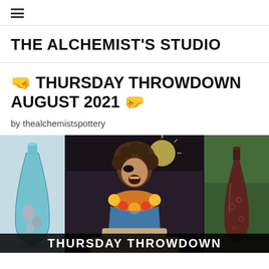☰
THE ALCHEMIST'S STUDIO
🤜 THURSDAY THROWDOWN AUGUST 2021 🤛
by thealchemistspottery
[Figure (photo): Collage of three images: left shows a teal/blue ceramic vase on a light background, center shows a person with curly hair and theatrical expression wearing a Hawaiian lei at what appears to be a wrestling or game show event, right shows a dark reddish-brown ceramic bottle vase in front of green foliage. A banner at the bottom reads THURSDAY THROWDOWN.]